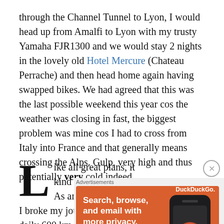through the Channel Tunnel to Lyon, I would head up from Amalfi to Lyon with my trusty Yamaha FJR1300 and we would stay 2 nights in the lovely old Hotel Mercure (Chateau Perrache) and then head home again having swapped bikes. We had agreed that this was the last possible weekend this year cos the weather was closing in fast, the biggest problem was mine cos I had to cross from Italy into France and that generally means crossing the Alps. Gulp, very high and thus potentially very cold indeed.
Like all great plans, it kind of worked too!! As an official old rider I broke my journeys into gentle daily 600 km
[Figure (other): DuckDuckGo advertisement banner: orange background with text 'Search, browse, and email with more privacy. All in One Free App' with a phone mockup showing DuckDuckGo logo]